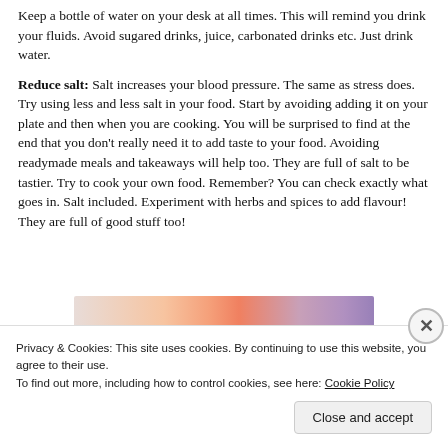Keep a bottle of water on your desk at all times. This will remind you drink your fluids. Avoid sugared drinks, juice, carbonated drinks etc. Just drink water.
Reduce salt: Salt increases your blood pressure. The same as stress does. Try using less and less salt in your food. Start by avoiding adding it on your plate and then when you are cooking. You will be surprised to find at the end that you don't really need it to add taste to your food. Avoiding readymade meals and takeaways will help too. They are full of salt to be tastier. Try to cook your own food. Remember? You can check exactly what goes in. Salt included. Experiment with herbs and spices to add flavour! They are full of good stuff too!
[Figure (other): Advertisement banner with gradient colors from peach/salmon to purple]
Privacy & Cookies: This site uses cookies. By continuing to use this website, you agree to their use.
To find out more, including how to control cookies, see here: Cookie Policy